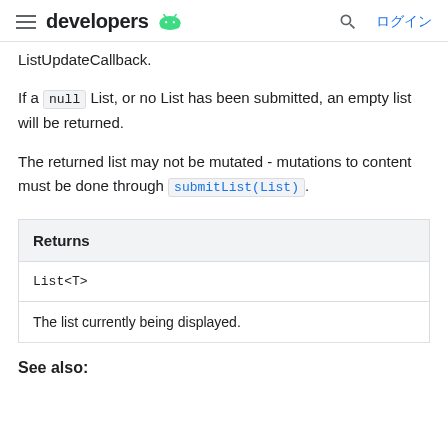developers [Android logo] | [search] ログイン
ListUpdateCallback.
If a null List, or no List has been submitted, an empty list will be returned.
The returned list may not be mutated - mutations to content must be done through submitList(List).
| Returns |
| --- |
| List<T> |
| The list currently being displayed. |
See also: